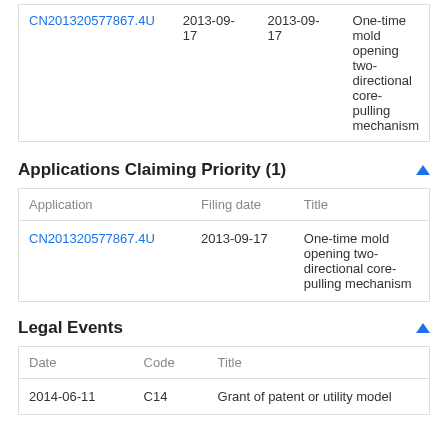| Application | Filing date | Title |
| --- | --- | --- |
| CN201320577867.4U | 2013-09-17 | One-time mold opening two-directional core-pulling mechanism |
Applications Claiming Priority (1)
| Application | Filing date | Title |
| --- | --- | --- |
| CN201320577867.4U | 2013-09-17 | One-time mold opening two-directional core-pulling mechanism |
Legal Events
| Date | Code | Title |
| --- | --- | --- |
| 2014-06-11 | C14 | Grant of patent or utility model |